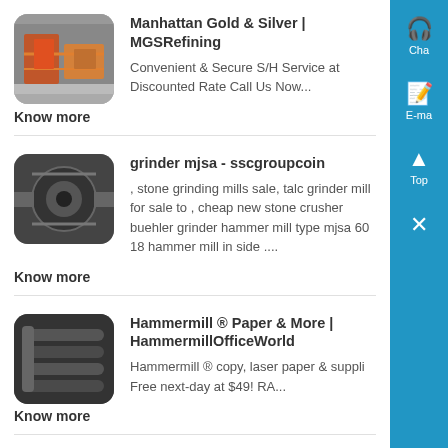[Figure (screenshot): Search result thumbnail: industrial metal machinery, orange and gray tones]
Manhattan Gold & Silver | MGSRefining
Convenient & Secure S/H Service at Discounted Rate Call Us Now...
Know more
[Figure (screenshot): Search result thumbnail: dark mechanical grinder parts]
grinder mjsa - sscgroupcoin
, stone grinding mills sale, talc grinder mill for sale to , cheap new stone crusher buehler grinder hammer mill type mjsa 60 18 hammer mill in side ....
Know more
[Figure (screenshot): Search result thumbnail: black coiled tubing or hose]
Hammermill ® Paper & More | HammermillOfficeWorld
Hammermill ® copy, laser paper & suppli Free next-day at $49! RA...
Know more
[Figure (screenshot): Partial search result thumbnail at bottom of page]
[Figure (screenshot): Sidebar with Chat, E-mail, Top, and close icons on blue background]